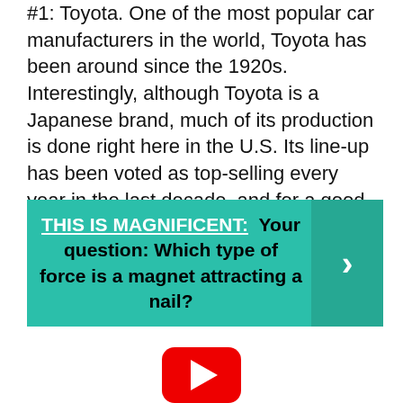#1: Toyota. One of the most popular car manufacturers in the world, Toyota has been around since the 1920s. Interestingly, although Toyota is a Japanese brand, much of its production is done right here in the U.S. Its line-up has been voted as top-selling every year in the last decade, and for a good reason.
THIS IS MAGNIFICENT: Your question: Which type of force is a magnet attracting a nail?
[Figure (logo): YouTube play button logo — red rounded rectangle with white triangle play icon]